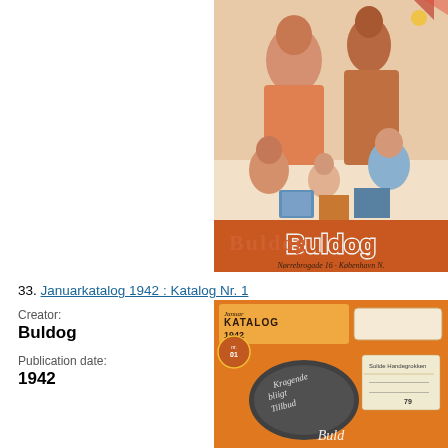[Figure (illustration): Vintage color illustration showing a family with Christmas gifts and products, with large 'Buldog' text and 'Nørrebrogade 16 København N.' at the bottom]
33. Januarkatalog 1942 : Katalog Nr. 1
Creator:
Buldog
Publication date:
1942
[Figure (illustration): Vintage orange catalog cover for 'Januar KATALOG 1942' by Buldog, with cursive text and product images]